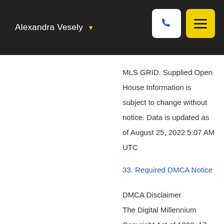Alexandra Vesely
MLS GRID. Supplied Open House Information is subject to change without notice. Data is updated as of August 25, 2022 5:07 AM UTC
33. Required DMCA Notice
DMCA Disclaimer
The Digital Millennium Copyright Act of 1998, 17 U.S.C. §512, the DMCA, provides recourse for copyright owners who